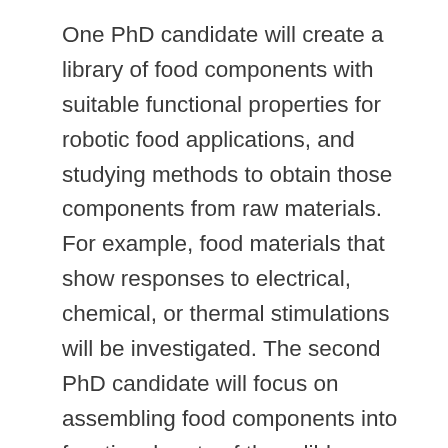One PhD candidate will create a library of food components with suitable functional properties for robotic food applications, and studying methods to obtain those components from raw materials. For example, food materials that show responses to electrical, chemical, or thermal stimulations will be investigated. The second PhD candidate will focus on assembling food components into functional parts of the edible robots, and on assessing the nutritional profile and life cycle of the robots. For example, advanced food processing techniques such as 3D/4D printing will be employed to create robotic food. Ideally, the